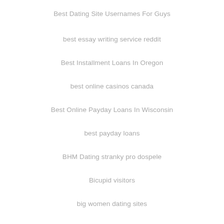Best Dating Site Usernames For Guys
best essay writing service reddit
Best Installment Loans In Oregon
best online casinos canada
Best Online Payday Loans In Wisconsin
best payday loans
BHM Dating stranky pro dospele
Bicupid visitors
big women dating sites
black hookup apps hookuphotties dating
BlackChristianPeopleMeet review
BlackChristianPeopleMeet visitors
blued es review